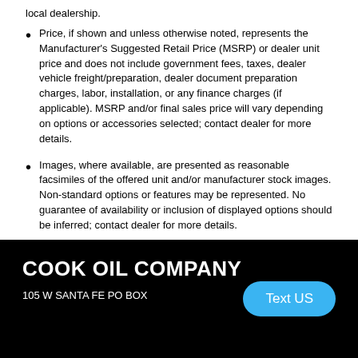local dealership.
Price, if shown and unless otherwise noted, represents the Manufacturer's Suggested Retail Price (MSRP) or dealer unit price and does not include government fees, taxes, dealer vehicle freight/preparation, dealer document preparation charges, labor, installation, or any finance charges (if applicable). MSRP and/or final sales price will vary depending on options or accessories selected; contact dealer for more details.
Images, where available, are presented as reasonable facsimiles of the offered unit and/or manufacturer stock images. Non-standard options or features may be represented. No guarantee of availability or inclusion of displayed options should be inferred; contact dealer for more details.
COOK OIL COMPANY
105 W SANTA FE PO BOX